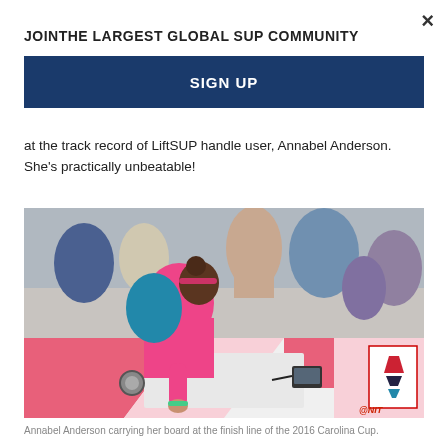×
JOINTHE LARGEST GLOBAL SUP COMMUNITY
SIGN UP
at the track record of LiftSUP handle user, Annabel Anderson. She's practically unbeatable!
[Figure (photo): Woman in pink long-sleeve top and teal backpack carrying a pink and white SUP board at the finish line of a race, with a crowd in the background.]
Annabel Anderson carrying her board at the finish line of the 2016 Carolina Cup.